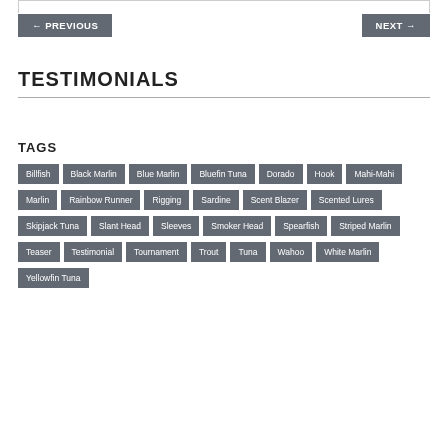← PREVIOUS
NEXT →
TESTIMONIALS
TAGS
Billfish
Black Marlin
Blue Marlin
Bluefin Tuna
Dorado
Hook
Mahi-Mahi
Marlin
Rainbow Runner
Rigging
Sardine
Scent Blazer
Scented Lures
Skipjack Tuna
Slant Head
Sleeves
Smoker Head
Spearfish
Striped Marlin
Teaser
Testimonial
Tournament
Trout
Tuna
Wahoo
White Marlin
Yellowfin Tuna